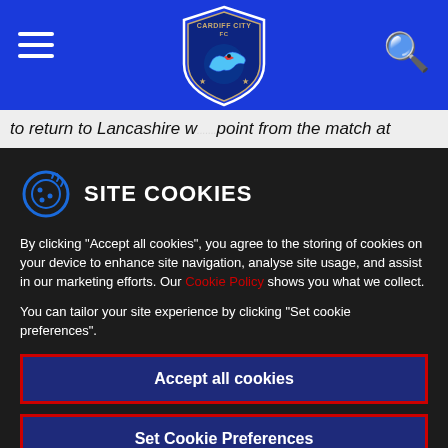Cardiff City FC navigation header with hamburger menu and search icon
to return to Lancashire w... point from the match at
[Figure (screenshot): Cardiff City FC club crest/badge logo centered in blue header bar]
SITE COOKIES
By clicking “Accept all cookies”, you agree to the storing of cookies on your device to enhance site navigation, analyse site usage, and assist in our marketing efforts. Our Cookie Policy shows you what we collect.
You can tailor your site experience by clicking "Set cookie preferences".
Accept all cookies
Set Cookie Preferences